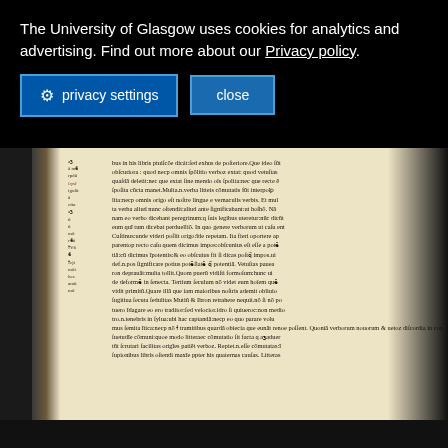The University of Glasgow uses cookies for analytics and advertising. Find out more about our Privacy policy.
[Figure (photo): Scanned page of an early printed book (incunabulum) showing dense blackletter/Gothic typeface text in Latin, with marginalia in red/brown ink on the right side and small annotations on the left margin. The book page is aged parchment/cream color with a dark binding visible on the left.]